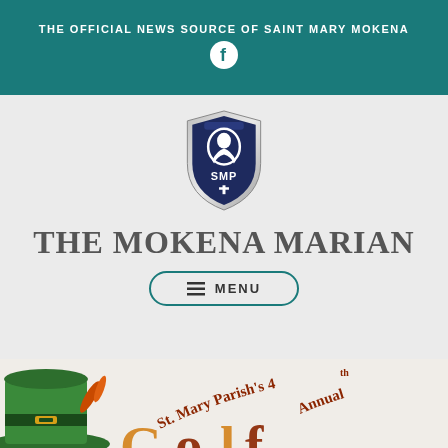THE OFFICIAL NEWS SOURCE OF SAINT MARY MOKENA
[Figure (logo): Facebook logo icon in white circle on teal background]
[Figure (logo): SMP shield logo — dark navy blue heraldic shield with a white silhouette of Virgin Mary, text SMP and a cross beneath]
THE MOKENA MARIAN
[Figure (other): Menu button with hamburger icon and MENU text, teal rounded rectangle border]
[Figure (illustration): Partial view of St. Mary Parish's 4th Annual event banner — colorful illustration with leprechaun hat and decorative text]